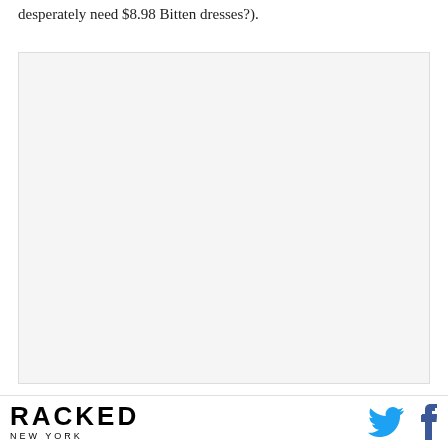desperately need $8.98 Bitten dresses?).
[Figure (photo): Large image placeholder with light gray background]
If you live outside of Manhattan, your favorite outlet for
RACKED NEW YORK [with Twitter and Facebook social icons]